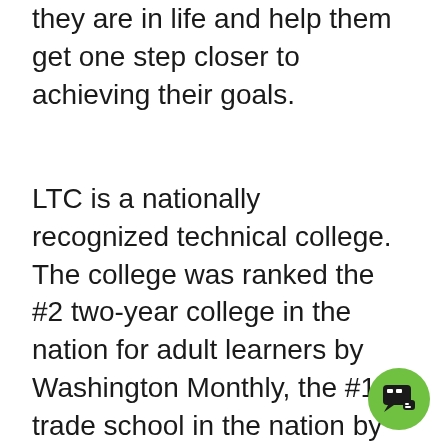they are in life and help them get one step closer to achieving their goals.
LTC is a nationally recognized technical college. The college was ranked the #2 two-year college in the nation for adult learners by Washington Monthly, the #17 trade school in the nation by Forbes, #11 in the nation for two-year college educational outcomes by WalletHub.com, a top-150 two-year college for the fifth consecutive time by the Aspen Institute, and a top 10 Bellwether Award finalist.